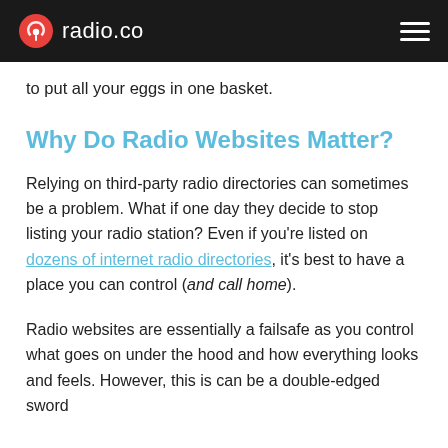radio.co
to put all your eggs in one basket.
Why Do Radio Websites Matter?
Relying on third-party radio directories can sometimes be a problem. What if one day they decide to stop listing your radio station? Even if you're listed on dozens of internet radio directories, it's best to have a place you can control (and call home).
Radio websites are essentially a failsafe as you control what goes on under the hood and how everything looks and feels. However, this is can be a double-edged sword